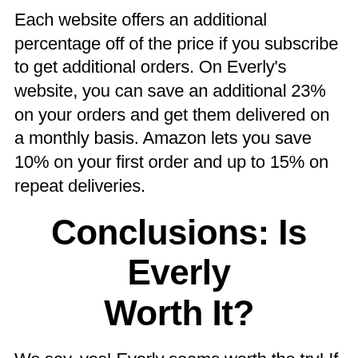Each website offers an additional percentage off of the price if you subscribe to get additional orders. On Everly's website, you can save an additional 23% on your orders and get them delivered on a monthly basis. Amazon lets you save 10% on your first order and up to 15% on repeat deliveries.
Conclusions: Is Everly Worth It?
We say, yes! Everly seems worth the try! If you're looking for a drink mix that includes electrolytes and antioxidants, as well as the added bonus of giving your water a better taste, then Everly might be what you're looking for. Plus, their giving model means when you buy Everly, you're also helping others. Give one of the many flavors of Everly...